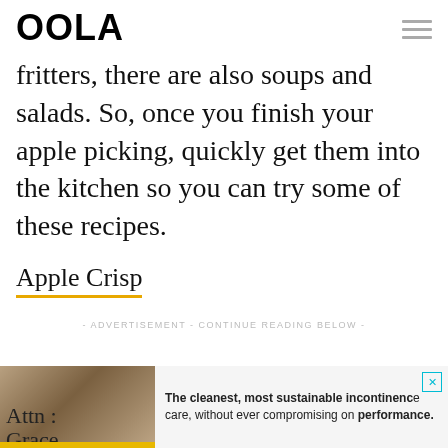OOLA
fritters, there are also soups and salads. So, once you finish your apple picking, quickly get them into the kitchen so you can try some of these recipes.
Apple Crisp
- ADVERTISEMENT - CONTINUE READING BELOW -
[Figure (other): Advertisement banner for Attn: Grace incontinence care product. Shows partial image of person, 'Attn: Grace' branding with yellow underline, and text: 'The cleanest, most sustainable incontinence care, without ever compromising on performance.']